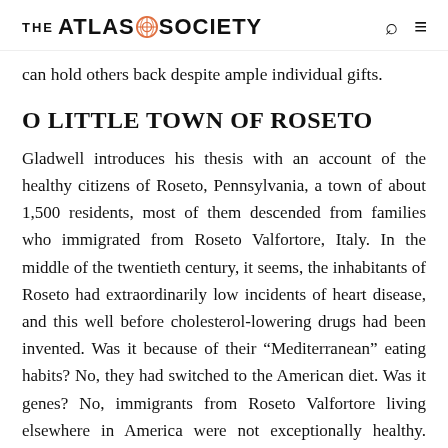THE ATLAS SOCIETY
can hold others back despite ample individual gifts.
O LITTLE TOWN OF ROSETO
Gladwell introduces his thesis with an account of the healthy citizens of Roseto, Pennsylvania, a town of about 1,500 residents, most of them descended from families who immigrated from Roseto Valfortore, Italy. In the middle of the twentieth century, it seems, the inhabitants of Roseto had extraordinarily low incidents of heart disease, and this well before cholesterol-lowering drugs had been invented. Was it because of their “Mediterranean” eating habits? No, they had switched to the American diet. Was it genes? No, immigrants from Roseto Valfortore living elsewhere in America were not exceptionally healthy. Could it have something to do with the region? Again, no, since